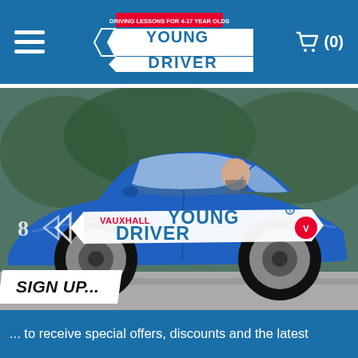Young Driver — Driving Lessons for 4-17 Year Olds
[Figure (screenshot): Navigation bar with hamburger menu, Young Driver logo, and shopping cart showing (0) items on blue background]
[Figure (photo): A young person driving a blue Vauxhall Young Driver branded car, side view, motion blur in background, car has large VAUXHALL YOUNG DRIVER branding on the door]
SIGN UP...
... to receive special offers, discounts and the latest